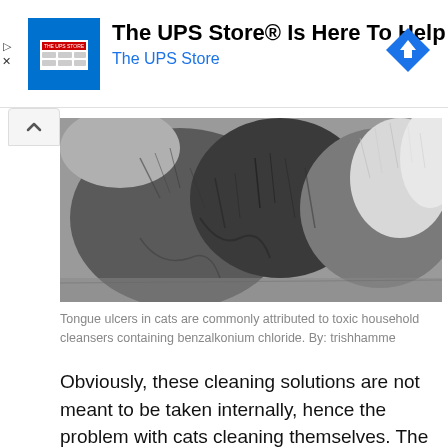[Figure (logo): The UPS Store advertisement banner with logo, title 'The UPS Store® Is Here To Help', subtitle 'The UPS Store', and a blue navigation arrow icon on the right.]
[Figure (photo): Close-up photograph of cat fur showing grey, dark grey, and white fluffy fur textures.]
Tongue ulcers in cats are commonly attributed to toxic household cleansers containing benzalkonium chloride. By: trishhamme
Obviously, these cleaning solutions are not meant to be taken internally, hence the problem with cats cleaning themselves. The issue is made worse if the manufacturer's directions are not followed and the patio cleaner is mixed incorrectly, resulting in too